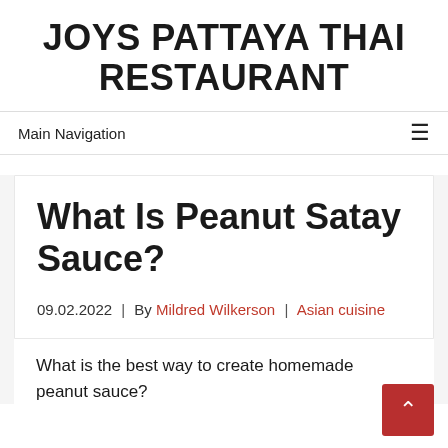JOYS PATTAYA THAI RESTAURANT
Main Navigation
What Is Peanut Satay Sauce?
09.02.2022  |  By Mildred Wilkerson  |  Asian cuisine
What is the best way to create homemade peanut sauce?